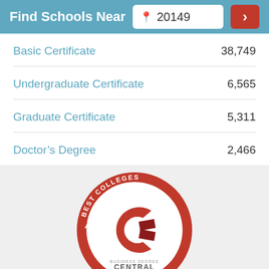Find Schools Near 20149
Basic Certificate  38,749
Undergraduate Certificate  6,565
Graduate Certificate  5,311
Doctor's Degree  2,466
[Figure (logo): Best Colleges badge — a circular red badge with white text 'BEST COLLEGES' along the top arc and 'BUSINESS AND MANAGEMENT' along the bottom arc, with the Business Degree Central logo (a stylized C) in the center and 'BUSINESS DEGREE CENTRAL' text below the logo.]